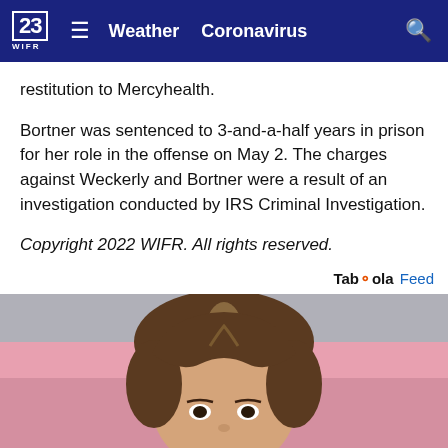23 WIFR  ≡  Weather  Coronavirus
restitution to Mercyhealth.
Bortner was sentenced to 3-and-a-half years in prison for her role in the offense on May 2. The charges against Weckerly and Bortner were a result of an investigation conducted by IRS Criminal Investigation.
Copyright 2022 WIFR. All rights reserved.
Taboola Feed
[Figure (photo): Close-up photo of a young woman with brown hair pulled up, looking at camera, with a pink background]
[Figure (infographic): Feldco advertisement banner: BUY ONE WINDOW GET ONE FREE]